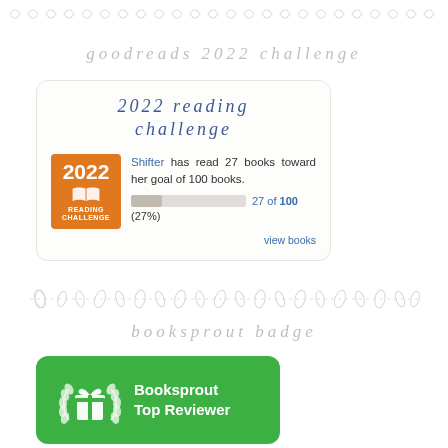[Figure (illustration): Decorative top border with repeating handwritten-style leaf/wave motifs in light gray]
goodreads 2022 challenge
[Figure (infographic): Goodreads 2022 Reading Challenge widget showing an orange badge with '2022 READING CHALLENGE' and a book icon, text reading 'Shifter has read 27 books toward her goal of 100 books.' with a progress bar showing 27 of 100 (27%), and a 'view books' link]
[Figure (illustration): Decorative middle divider with repeating small oval/leaf shapes connected by dotted lines in light gray]
booksprout badge
[Figure (infographic): Booksprout Top Reviewer badge: green rounded rectangle with white book/wreath icon and bold white text 'Booksprout Top Reviewer']